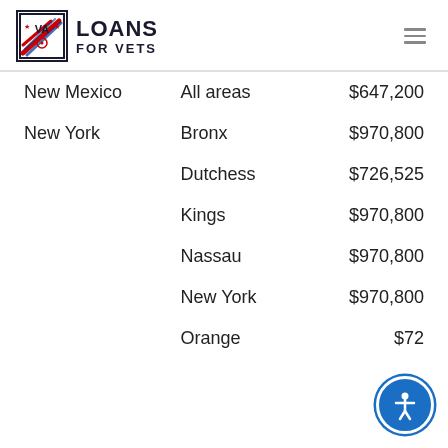VA LOANS FOR VETS
| State | Area | Loan Limit |
| --- | --- | --- |
| New Mexico | All areas | $647,200 |
| New York | Bronx | $970,800 |
|  | Dutchess | $726,525 |
|  | Kings | $970,800 |
|  | Nassau | $970,800 |
|  | New York | $970,800 |
|  | Orange | $72... |